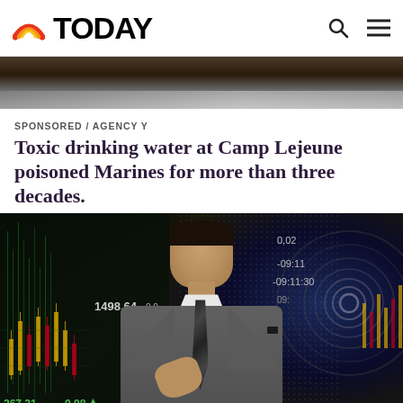TODAY
[Figure (photo): Top strip image showing partial view of a stone or concrete surface, dark tones]
SPONSORED / AGENCY Y
Toxic drinking water at Camp Lejeune poisoned Marines for more than three decades.
[Figure (photo): Man in grey suit and striped tie speaking, gesturing with right hand, standing in front of stock market data display background showing numbers like 1498.64, 267.21, 0.08 with financial chart graphics and a large eye/tech visualization on the right side]